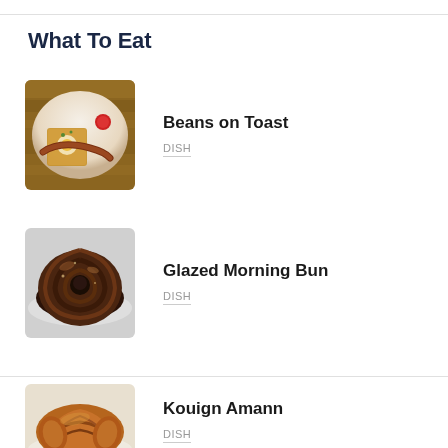What To Eat
[Figure (photo): Photo of beans on toast dish with sausage and fried egg in a bowl]
Beans on Toast
DISH
[Figure (photo): Photo of a glazed morning bun pastry]
Glazed Morning Bun
DISH
[Figure (photo): Photo of a Kouign Amann pastry on a plate]
Kouign Amann
DISH